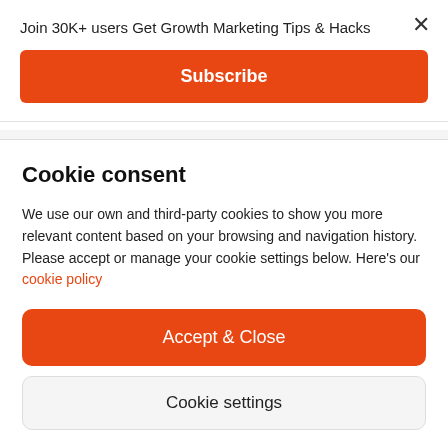Join 30K+ users Get Growth Marketing Tips & Hacks
Subscribe
effort. Once you’ve put enough thought into how much time you’re willing to dedicate
Cookie consent
We use our own and third-party cookies to show you more relevant content based on your browsing and navigation history. Please accept or manage your cookie settings below. Here’s our cookie policy
Accept & Close
Cookie settings